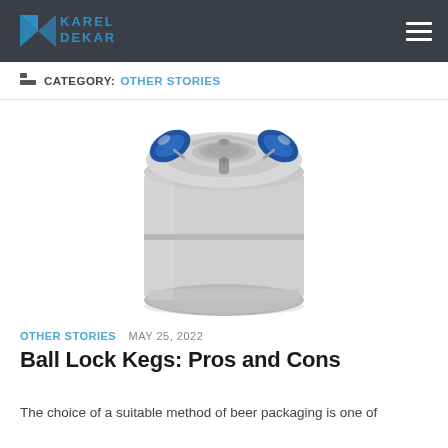Karel Dekar — site header with navigation
CATEGORY: OTHER STORIES
[Figure (photo): A stainless steel ball lock keg with blue handles on top, viewed from a three-quarter perspective against a white background.]
OTHER STORIES  MAY 25, 2022
Ball Lock Kegs: Pros and Cons
The choice of a suitable method of beer packaging is one of